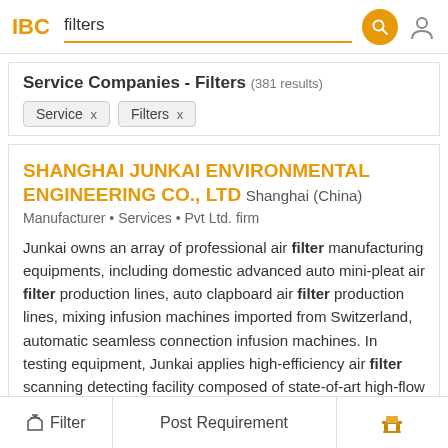IBC  filters
Service Companies - Filters (381 results)
Service x
Filters x
SHANGHAI JUNKAI ENVIRONMENTAL ENGINEERING CO., LTD  Shanghai (China)
Manufacturer • Services • Pvt Ltd. firm
Junkai owns an array of professional air filter manufacturing equipments, including domestic advanced auto mini-pleat air filter production lines, auto clapboard air filter production lines, mixing infusion machines imported from Switzerland, automatic seamless connection infusion machines. In testing equipment, Junkai applies high-efficiency air filter scanning detecting facility composed of state-of-art high-flow laser dust particle counters by
Filter  Post Requirement